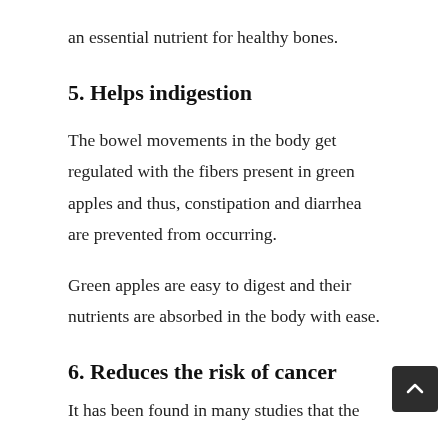an essential nutrient for healthy bones.
5. Helps indigestion
The bowel movements in the body get regulated with the fibers present in green apples and thus, constipation and diarrhea are prevented from occurring.
Green apples are easy to digest and their nutrients are absorbed in the body with ease.
6. Reduces the risk of cancer
It has been found in many studies that the